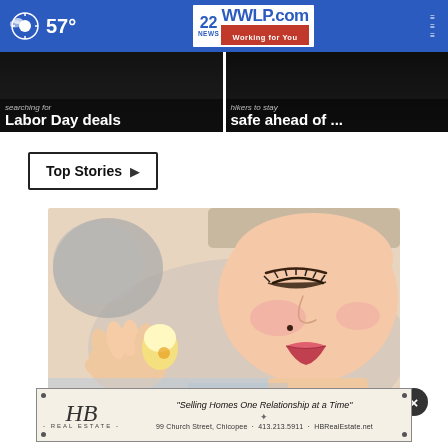57° | 22NEWS WWLP.com Working for You
[Figure (screenshot): Two news teaser cards: left card shows 'searching for Labor Day deals', right card shows 'hikers to stay safe ahead of ...']
Top Stories ▶
[Figure (illustration): Illustration of a woman applying something to her face, with eyes closed and pink lips, holding a small object against her cheek]
[Figure (other): HB Real Estate advertisement: 'Selling Homes One Relationship at a Time' - 99 Church Street, Chicopee - 413.213.5911 - HBRealEstate.net]